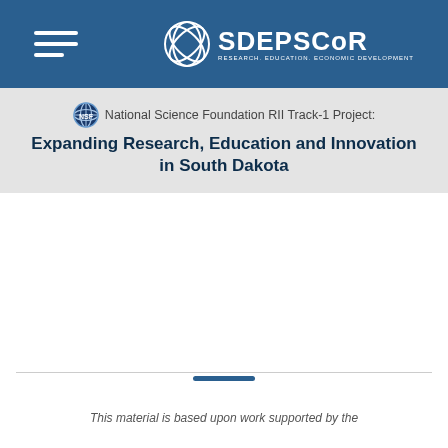SD EPSCoR — Research. Education. Economic Development.
National Science Foundation RII Track-1 Project: Expanding Research, Education and Innovation in South Dakota
This material is based upon work supported by the